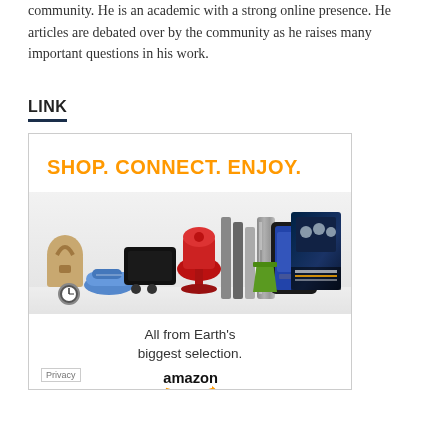community. He is an academic with a strong online presence. He articles are debated over by the community as he raises many important questions in his work.
LINK
[Figure (photo): Amazon advertisement banner reading 'SHOP. CONNECT. ENJOY.' in orange text, showing products including a handbag, PlayStation, KitchenAid mixer, books, Kindle tablet, Star Trek movie, sneakers, and a smoothie cup. Below products: 'All from Earth's biggest selection.' and the Amazon logo with arrow.]